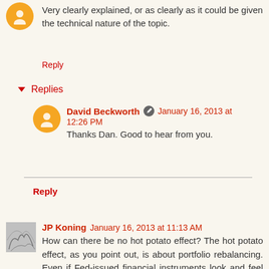Very clearly explained, or as clearly as it could be given the technical nature of the topic.
Reply
Replies
David Beckworth   January 16, 2013 at 12:26 PM
Thanks Dan. Good to hear from you.
Reply
JP Koning  January 16, 2013 at 11:13 AM
How can there be no hot potato effect? The hot potato effect, as you point out, is about portfolio rebalancing. Even if Fed-issued financial instruments look and feel like Treasury-issued financial instruments, this doesn't mitigate people's willingness to rebalance their portfolios away from one or the other the moment expected returns on them di...